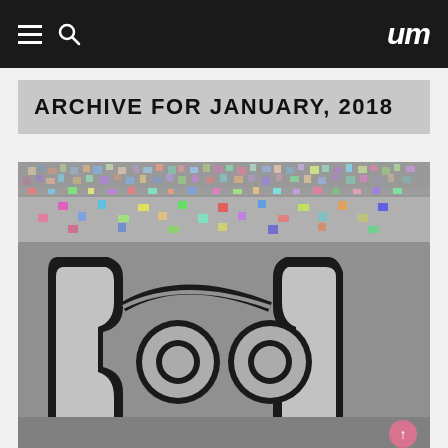um
ARCHIVE FOR JANUARY, 2018
[Figure (photo): Large colorful photo mosaic forming a decorative pattern or character silhouette made up of thousands of small images, with a black curvilinear outline design overlaid on the mosaic.]